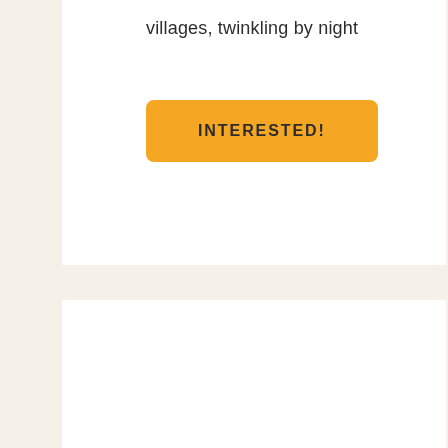villages, twinkling by night
[Figure (other): Orange rounded button labeled INTERESTED!]